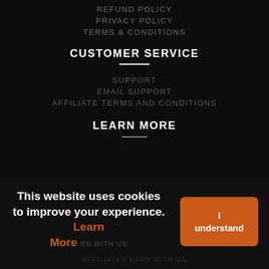REFUND POLICY
PRIVACY POLICY
TERMS & CONDITIONS
CUSTOMER SERVICE
SUPPORT
EMAIL SUPPORT
AFFILIATE TERMS AND CONDITIONS
LEARN MORE
This website uses cookies to improve your experience. Learn More
I understand